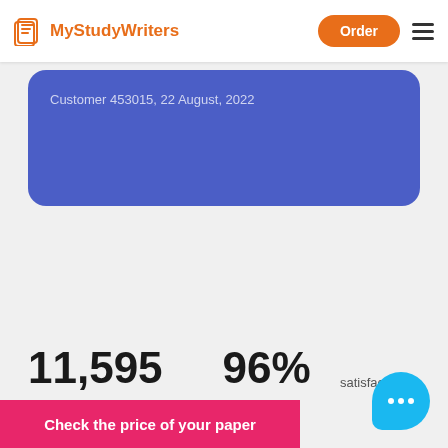[Figure (logo): MyStudyWriters logo with document icon in orange]
Customer 453015, 22 August, 2022
11,595
96%
satisfaction
Check the price of your paper